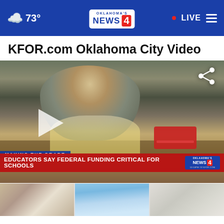73° OKLAHOMA'S NEWS 4 · LIVE
KFOR.com Oklahoma City Video
[Figure (screenshot): Video thumbnail showing a child at a classroom desk with school supplies and a red pencil case. Lower third reads 'MAKING THE GRADE' and 'EDUCATORS SAY FEDERAL FUNDING CRITICAL FOR SCHOOLS' with KFOR News 4 logo.]
[Figure (photo): Bottom thumbnail strip showing three partially visible photos: a person, a cityscape/church spire, and a building exterior.]